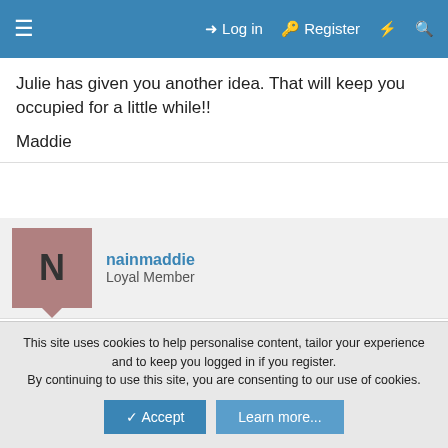≡   Log in   Register   ⚡   🔍
Julie has given you another idea. That will keep you occupied for a little while!!

Maddie
nainmaddie
Loyal Member
11 August 2009   #10
Hi Paul

If you google Sherwood Foresters records . There are a lot of sites that might also help either to eliminate or find Henry Jones
This site uses cookies to help personalise content, tailor your experience and to keep you logged in if you register.
By continuing to use this site, you are consenting to our use of cookies.